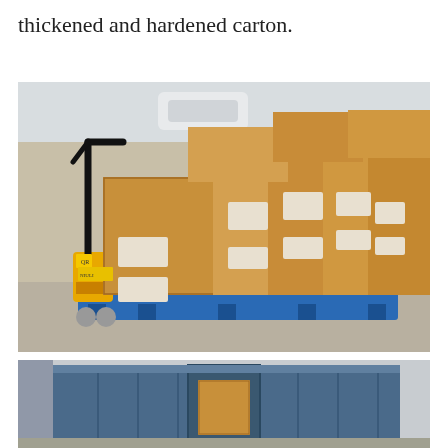Each lot of us are more than a professional thickened and hardened carton.
[Figure (photo): Photograph of multiple large cardboard boxes stacked on a blue pallet, being moved by a yellow pallet jack/hand truck, outdoors on a concrete surface. A white car is visible in the background.]
[Figure (photo): Photograph of the open back of a shipping container with stacked boxes inside, partially visible, taken outdoors.]